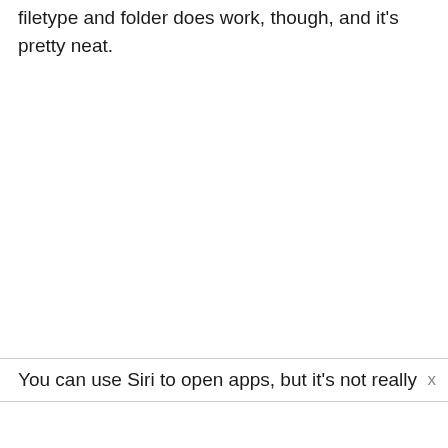filetype and folder does work, though, and it's pretty neat.
You can use Siri to open apps, but it's not really